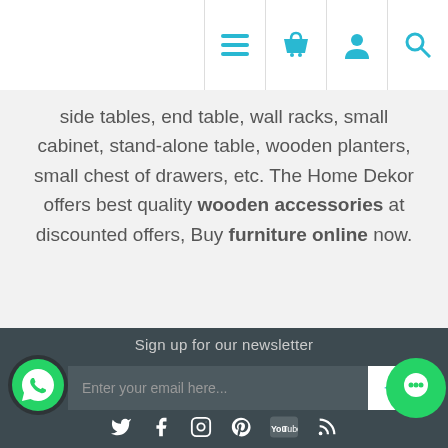[Navigation icons: menu, basket, user, search]
side tables, end table, wall racks, small cabinet, stand-alone table, wooden planters, small chest of drawers, etc. The Home Dekor offers best quality wooden accessories at discounted offers, Buy furniture online now.
Sign up for our newsletter
Enter your email here...